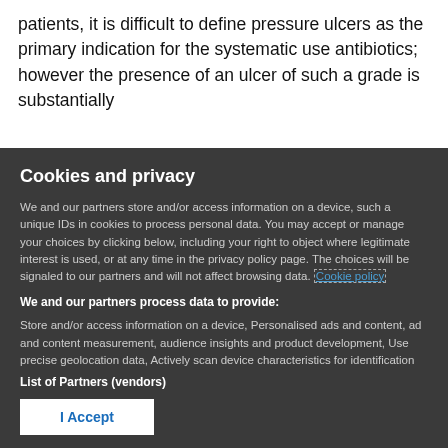patients, it is difficult to define pressure ulcers as the primary indication for the systematic use antibiotics; however the presence of an ulcer of such a grade is substantially
Cookies and privacy
We and our partners store and/or access information on a device, such a unique IDs in cookies to process personal data. You may accept or manage your choices by clicking below, including your right to object where legitimate interest is used, or at any time in the privacy policy page. These choices will be signaled to our partners and will not affect browsing data. Cookie policy
We and our partners process data to provide:
Store and/or access information on a device, Personalised ads and content, ad and content measurement, audience insights and product development, Use precise geolocation data, Actively scan device characteristics for identification
List of Partners (vendors)
I Accept